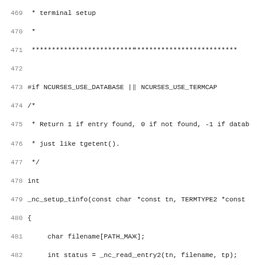Source code listing, lines 469-501, C language ncurses terminal setup function _nc_setup_tinfo